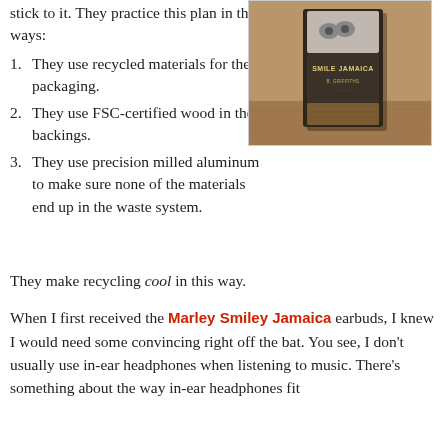stick to it. They practice this plan in three ways:
[Figure (photo): Product box for Marley Smile Jamaica earbuds on a wooden surface, dark packaging with gold text]
They use recycled materials for their packaging.
They use FSC-certified wood in the backings.
They use precision milled aluminum to make sure none of the materials end up in the waste system.
They make recycling cool in this way.
When I first received the Marley Smiley Jamaica earbuds, I knew I would need some convincing right off the bat. You see, I don't usually use in-ear headphones when listening to music. There's something about the way in-ear headphones fit